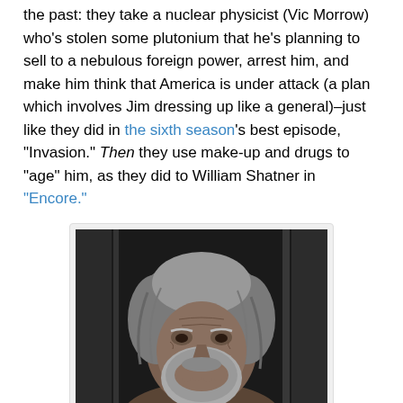the past: they take a nuclear physicist (Vic Morrow) who's stolen some plutonium that he's planning to sell to a nebulous foreign power, arrest him, and make him think that America is under attack (a plan which involves Jim dressing up like a general)–just like they did in the sixth season's best episode, "Invasion." Then they use make-up and drugs to "age" him, as they did to William Shatner in "Encore."
[Figure (photo): An elderly-looking man with long grey hair and beard, pressing his hand to his mouth, photographed in a dimly lit setting with vertical elements (bars or columns) in the background.]
Finally, they follow it all up by making him believe that it's the future (as they did to Donnelly Rhodes in "The Freeze") and that there's been a nuclear holocaust, as they've done several times, most famously, and most successfully, to p…